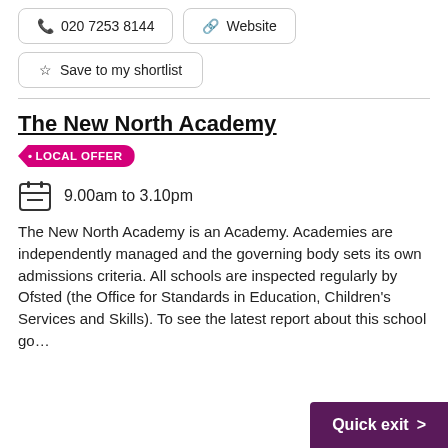020 7253 8144
Website
Save to my shortlist
The New North Academy
LOCAL OFFER
9.00am to 3.10pm
The New North Academy is an Academy. Academies are independently managed and the governing body sets its own admissions criteria. All schools are inspected regularly by Ofsted (the Office for Standards in Education, Children's Services and Skills). To see the latest report about this school go...